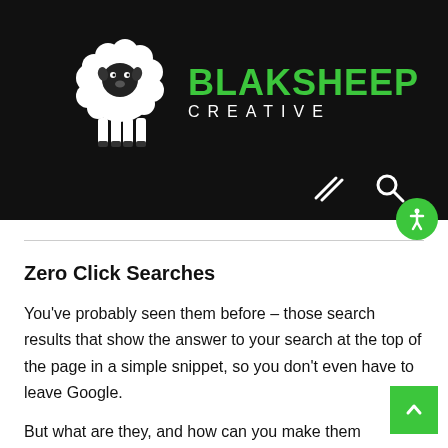[Figure (logo): BlakSheep Creative logo — white cartoon sheep on black background with BLAKSHEEP in green and CREATIVE in white below]
Zero Click Searches
You’ve probably seen them before – those search results that show the answer to your search at the top of the page in a simple snippet, so you don’t even have to leave Google.
But what are they, and how can you make them